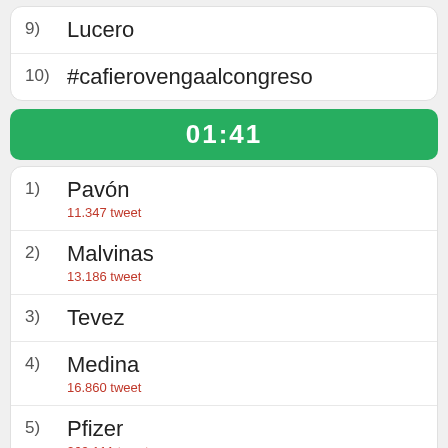9) Lucero
10) #cafierovengaalcongreso
01:41
1) Pavón — 11.347 tweet
2) Malvinas — 13.186 tweet
3) Tevez
4) Medina — 16.860 tweet
5) Pfizer — 269.111 tweet
6) Capaldo